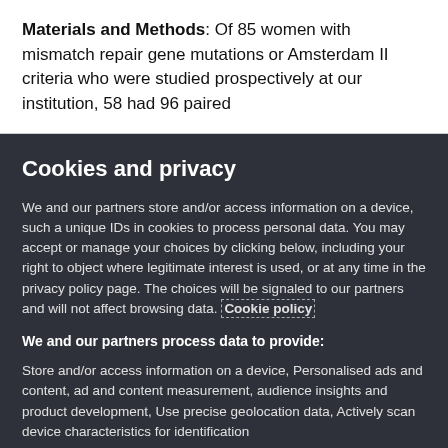Materials and Methods: Of 85 women with mismatch repair gene mutations or Amsterdam II criteria who were studied prospectively at our institution, 58 had 96 paired
Cookies and privacy
We and our partners store and/or access information on a device, such a unique IDs in cookies to process personal data. You may accept or manage your choices by clicking below, including your right to object where legitimate interest is used, or at any time in the privacy policy page. These choices will be signaled to our partners and will not affect browsing data. Cookie policy
We and our partners process data to provide:
Store and/or access information on a device, Personalised ads and content, ad and content measurement, audience insights and product development, Use precise geolocation data, Actively scan device characteristics for identification
List of Partners (vendors)
I Accept